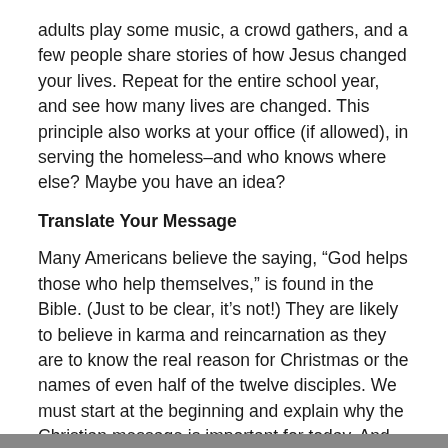adults play some music, a crowd gathers, and a few people share stories of how Jesus changed your lives. Repeat for the entire school year, and see how many lives are changed. This principle also works at your office (if allowed), in serving the homeless–and who knows where else? Maybe you have an idea?
Translate Your Message
Many Americans believe the saying, “God helps those who help themselves,” is found in the Bible. (Just to be clear, it’s not!) They are likely to believe in karma and reincarnation as they are to know the real reason for Christmas or the names of even half of the twelve disciples. We must start at the beginning and explain why the Christian message is important for today. And, our message needs to contain the full counsel of Scripture.